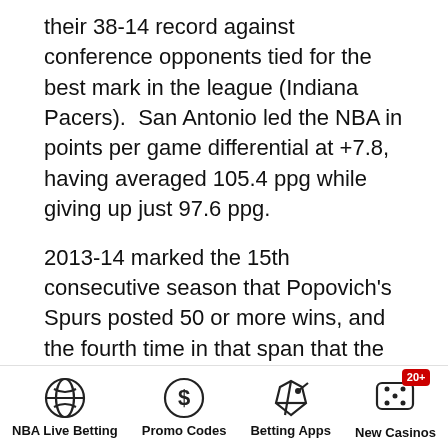their 38-14 record against conference opponents tied for the best mark in the league (Indiana Pacers).  San Antonio led the NBA in points per game differential at +7.8, having averaged 105.4 ppg while giving up just 97.6 ppg.
2013-14 marked the 15th consecutive season that Popovich's Spurs posted 50 or more wins, and the fourth time in that span that the team tallied 60-plus victories. San Antonio recorded a 19-game winning streak – tied for fifth-longest in NBA history – between Feb. 26-April 2.
Popovich presided over a balanced roster which featured no player who averaged 20-plus points, nor 30-plus minutes, with Tony Parker's 16.7 ppg and 29.4 mpg leading both categories. He ended the 2013-14 campaign
NBA Live Betting | Promo Codes | Betting Apps | New Casinos